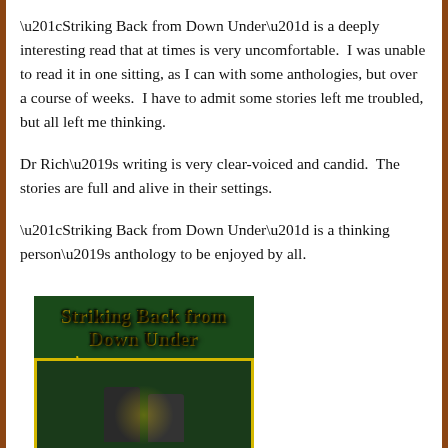“Striking Back from Down Under” is a deeply interesting read that at times is very uncomfortable.  I was unable to read it in one sitting, as I can with some anthologies, but over a course of weeks.  I have to admit some stories left me troubled, but all left me thinking.
Dr Rich’s writing is very clear-voiced and candid.  The stories are full and alive in their settings.
“Striking Back from Down Under” is a thinking person’s anthology to be enjoyed by all.
[Figure (illustration): Book cover for 'Striking Back from Down Under' with dark green background, yellow-gold stylized title text, and two dark silhouetted figures in a framed lower section]